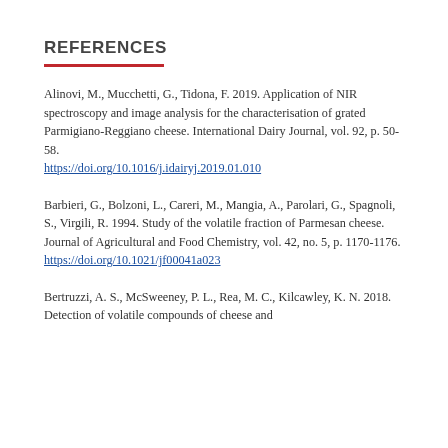REFERENCES
Alinovi, M., Mucchetti, G., Tidona, F. 2019. Application of NIR spectroscopy and image analysis for the characterisation of grated Parmigiano-Reggiano cheese. International Dairy Journal, vol. 92, p. 50-58. https://doi.org/10.1016/j.idairyj.2019.01.010
Barbieri, G., Bolzoni, L., Careri, M., Mangia, A., Parolari, G., Spagnoli, S., Virgili, R. 1994. Study of the volatile fraction of Parmesan cheese. Journal of Agricultural and Food Chemistry, vol. 42, no. 5, p. 1170-1176. https://doi.org/10.1021/jf00041a023
Bertruzzi, A. S., McSweeney, P. L., Rea, M. C., Kilcawley, K. N. 2018. Detection of volatile compounds of cheese and…